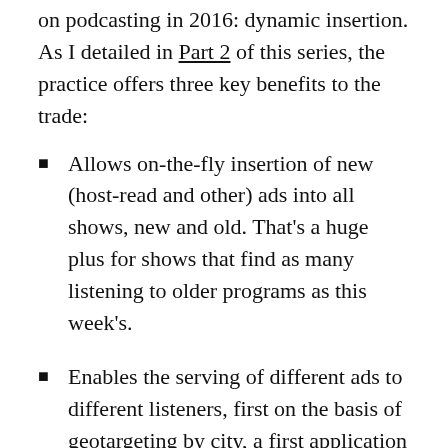on podcasting in 2016: dynamic insertion. As I detailed in Part 2 of this series, the practice offers three key benefits to the trade:
Allows on-the-fly insertion of new (host-read and other) ads into all shows, new and old. That's a huge plus for shows that find as many listening to older programs as this week's.
Enables the serving of different ads to different listeners, first on the basis of geotargeting by city, a first application of the kind of digital demographic and geographic targeting that's becoming standard.
Collects audience data on actual ad listening, and more data that can be useful